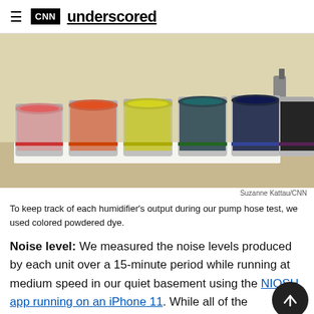CNN underscored
[Figure (photo): Six metal paint cans arranged in a row on a white surface against a cream/yellow wall, each containing different colored dye — pink/red, orange-red, yellow-green, dark teal, dark blue, dark brown/black. A device is visible on the right side plugged into the wall.]
Suzanne Kattau/CNN
To keep track of each humidifier's output during our pump hose test, we used colored powdered dye.
Noise level: We measured the noise levels produced by each unit over a 15-minute period while running at medium speed in our quiet basement using the NIOSH app running on an iPhone 11. While all of the